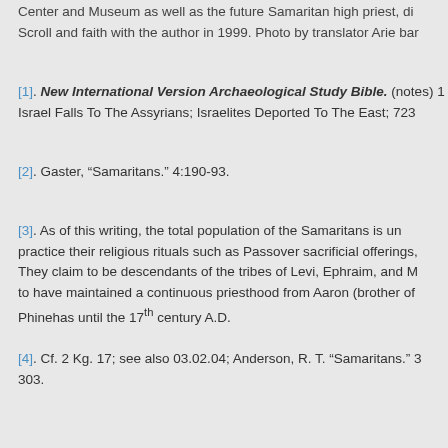Center and Museum as well as the future Samaritan high priest, di Scroll and faith with the author in 1999. Photo by translator Arie bar
[1]. New International Version Archaeological Study Bible. (notes) 1 Israel Falls To The Assyrians; Israelites Deported To The East; 723
[2]. Gaster, “Samaritans.” 4:190-93.
[3]. As of this writing, the total population of the Samaritans is under practice their religious rituals such as Passover sacrificial offerings, They claim to be descendants of the tribes of Levi, Ephraim, and M to have maintained a continuous priesthood from Aaron (brother of Phinehas until the 17th century A.D.
[4]. Cf. 2 Kg. 17; see also 03.02.04; Anderson, R. T. “Samaritans.” 3 303.